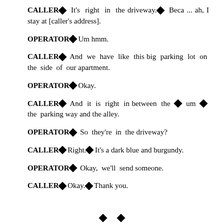CALLER◆ It's right in the driveway.◆ Beca ... ah, I stay at [caller's address].
OPERATOR◆ Um hmm.
CALLER◆ And we have like this big parking lot on the side of our apartment.
OPERATOR◆ Okay.
CALLER◆ And it is right in between the ◆ um ◆ the parking way and the alley.
OPERATOR◆ So they're in the driveway?
CALLER◆ Right.◆ It's a dark blue and burgundy.
OPERATOR◆ Okay, we'll send someone.
CALLER◆ Okay.◆ Thank you.